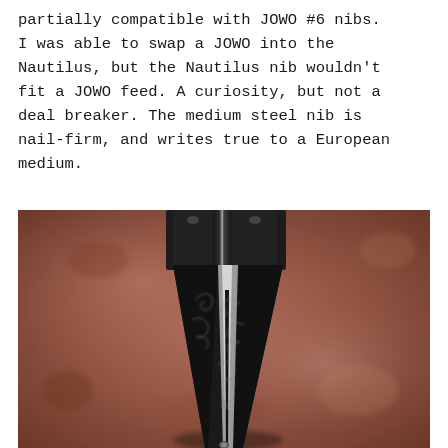partially compatible with JOWO #6 nibs. I was able to swap a JOWO into the Nautilus, but the Nautilus nib wouldn't fit a JOWO feed. A curiosity, but not a deal breaker. The medium steel nib is nail-firm, and writes true to a European medium.
[Figure (photo): Close-up macro photograph of a dark steel fountain pen nib with decorative filigree/scrollwork engraving, shown against a blurred reddish-brown textured background. The nib is pointed downward and shows a central slit and tipping material at the tip.]